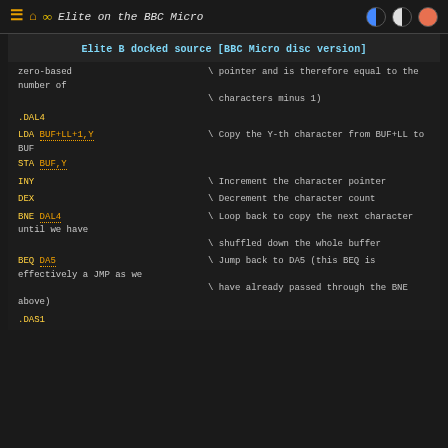Elite on the BBC Micro
Elite B docked source [BBC Micro disc version]
zero-based                    \ pointer and is therefore equal to the number of
                               \ characters minus 1)
.DAL4
LDA BUF+LL+1,Y              \ Copy the Y-th character from BUF+LL to BUF
STA BUF,Y
INY                          \ Increment the character pointer
DEX                          \ Decrement the character count
BNE DAL4                     \ Loop back to copy the next character until we have
                               \ shuffled down the whole buffer
BEQ DA5                      \ Jump back to DA5 (this BEQ is effectively a JMP as we
                               \ have already passed through the BNE above)
.DAS1